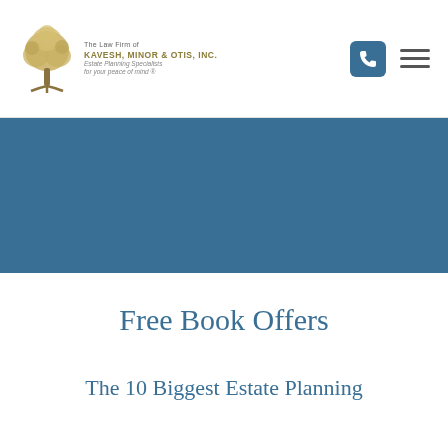[Figure (logo): Tree logo with text: The Law Firm of KAVESH, MINOR & OTIS, INC. Estate Planning Specialists for your peace of mind]
[Figure (other): Navigation icons: blue phone button and hamburger menu icon]
[Figure (other): Blue banner/hero image area]
Free Book Offers
The 10 Biggest Estate Planning